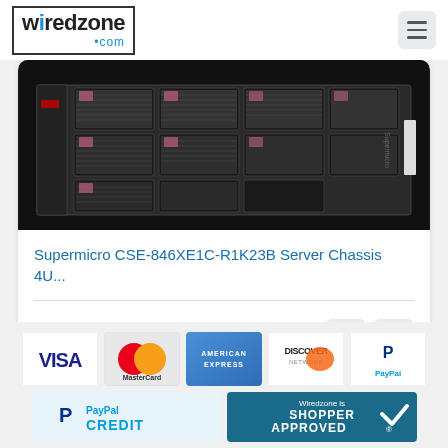[Figure (logo): WiredZone.com logo with border]
[Figure (photo): Supermicro CSE-846XE1C-R1K23B server chassis rack unit photo showing front panel with drive bays]
Supermicro CSE-846XE1C-R1K23B Server Chassis 4U...
$ 2,164.00
[Figure (infographic): Payment method logos: VISA, MasterCard, American Express, Discover Network, PayPal, PayPal Credit, Wiredzone is Shopper Approved]